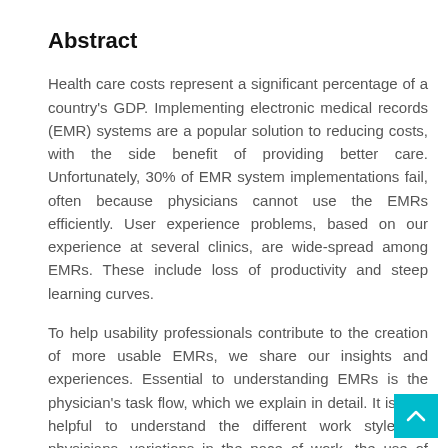Abstract
Health care costs represent a significant percentage of a country's GDP. Implementing electronic medical records (EMR) systems are a popular solution to reducing costs, with the side benefit of providing better care. Unfortunately, 30% of EMR system implementations fail, often because physicians cannot use the EMRs efficiently. User experience problems, based on our experience at several clinics, are wide-spread among EMRs. These include loss of productivity and steep learning curves.
To help usability professionals contribute to the creation of more usable EMRs, we share our insights and experiences. Essential to understanding EMRs is the physician's task flow, which we explain in detail. It is also helpful to understand the different work styles of physicians, variations in the pace of work, the use of nurses, the mode and timing of data entry, and variations in needed functionality.